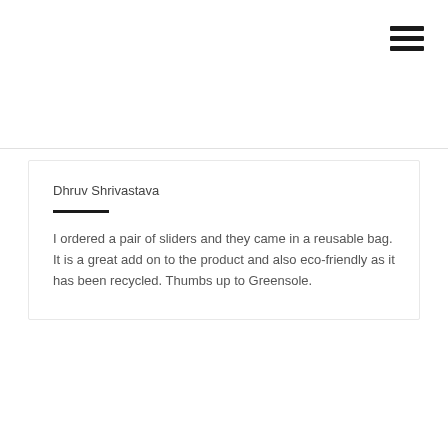[Figure (other): Hamburger menu icon with three horizontal bars in top right corner]
Dhruv Shrivastava
I ordered a pair of sliders and they came in a reusable bag. It is a great add on to the product and also eco-friendly as it has been recycled. Thumbs up to Greensole.